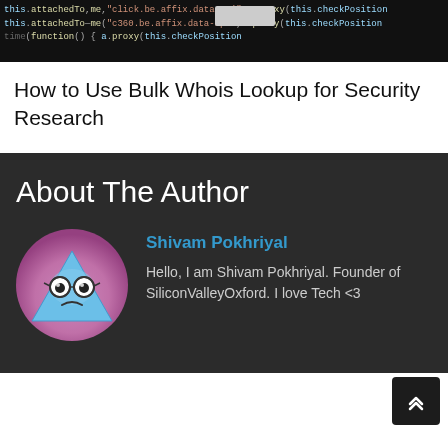[Figure (screenshot): Dark code editor banner showing JavaScript/programming code with a light box/modal element in the middle]
How to Use Bulk Whois Lookup for Security Research
About The Author
[Figure (illustration): Circular avatar icon showing a cartoon sad face character with glasses, blue triangular body, on a pink/purple gradient background]
Shivam Pokhriyal
Hello, I am Shivam Pokhriyal. Founder of SiliconValleyOxford. I love Tech <3